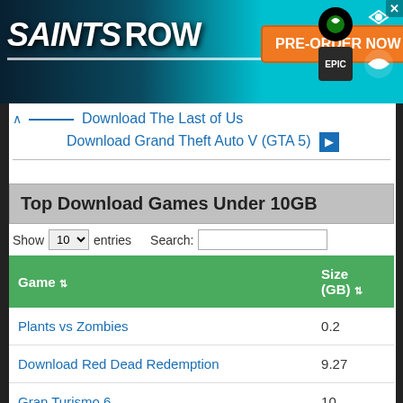[Figure (screenshot): Saints Row Pre-Order Now advertisement banner with Xbox, Epic Games, and Stadia icons]
Download The Last of Us
Download Grand Theft Auto V (GTA 5)
Top Download Games Under 10GB
| Game | Size (GB) |
| --- | --- |
| Plants vs Zombies | 0.2 |
| Download Red Dead Redemption | 9.27 |
| Gran Turismo 6 | 10 |
| Tekken 6 | 11.27 |